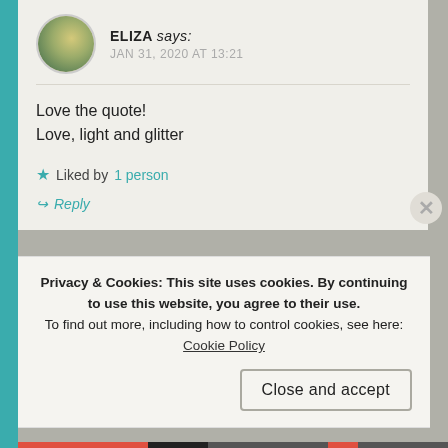ELIZA says: JAN 31, 2020 AT 13:21
Love the quote!
Love, light and glitter
★ Liked by 1 person
↪ Reply
LINDASSCHAUB says:
Privacy & Cookies: This site uses cookies. By continuing to use this website, you agree to their use.
To find out more, including how to control cookies, see here: Cookie Policy
Close and accept